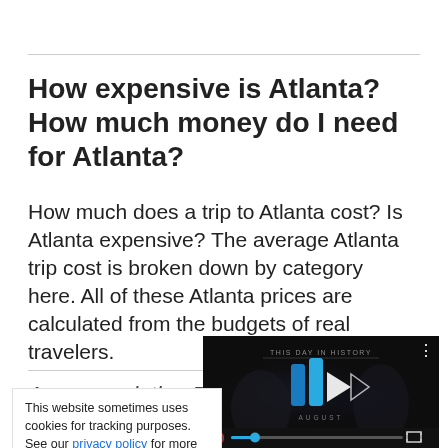How expensive is Atlanta? How much money do I need for Atlanta?
How much does a trip to Atlanta cost? Is Atlanta expensive? The average Atlanta trip cost is broken down by category here. All of these Atlanta prices are calculated from the budgets of real travelers.
Accommodation P
This website sometimes uses cookies for tracking purposes. See our privacy policy for more details.
[Figure (screenshot): Embedded video player with dark background showing 'THIS DAY IN HISTORY' text, a blue logo mark, play button, and playback controls with mute icon, progress bar, and fullscreen button. 'AUGUST' text visible.]